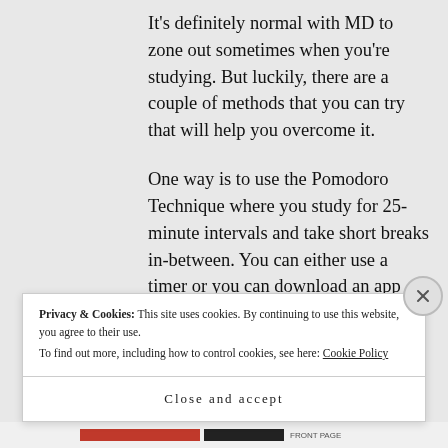It's definitely normal with MD to zone out sometimes when you're studying. But luckily, there are a couple of methods that you can try that will help you overcome it.
One way is to use the Pomodoro Technique where you study for 25-minute intervals and take short breaks in-between. You can either use a timer or you can download an app that will manage these intervals
Privacy & Cookies: This site uses cookies. By continuing to use this website, you agree to their use. To find out more, including how to control cookies, see here: Cookie Policy
Close and accept